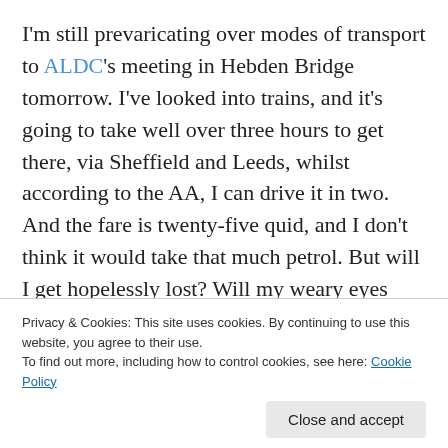I'm still prevaricating over modes of transport to ALDC's meeting in Hebden Bridge tomorrow. I've looked into trains, and it's going to take well over three hours to get there, via Sheffield and Leeds, whilst according to the AA, I can drive it in two. And the fare is twenty-five quid, and I don't think it would take that much petrol. But will I get hopelessly lost? Will my weary eyes finally conk out and leave me crashing about the motorway? Will I be too weary to drive home? Sunday's work is starting off printing 40,000 leaflets for Nottingham East, so Saturday night's
Privacy & Cookies: This site uses cookies. By continuing to use this website, you agree to their use. To find out more, including how to control cookies, see here: Cookie Policy
The clincher is that I'd have to be on a train at 8.55am,